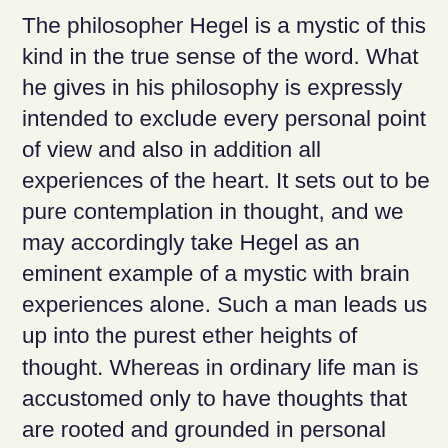The philosopher Hegel is a mystic of this kind in the true sense of the word. What he gives in his philosophy is expressly intended to exclude every personal point of view and also in addition all experiences of the heart. It sets out to be pure contemplation in thought, and we may accordingly take Hegel as an eminent example of a mystic with brain experiences alone. Such a man leads us up into the purest ether heights of thought. Whereas in ordinary life man is accustomed only to have thoughts that are rooted and grounded in personal interest and in self-consciousness, these are the very thoughts that in a philosophical mystic of this kind are forbidden. And he excludes also what makes the spiritual attractive and desirable, namely, its interplay with the experiences of the heart. He devotes himself in majestic resignation to following the course of the experiences of the brain and these alone. Of all that the human soul can experience, there remain to him